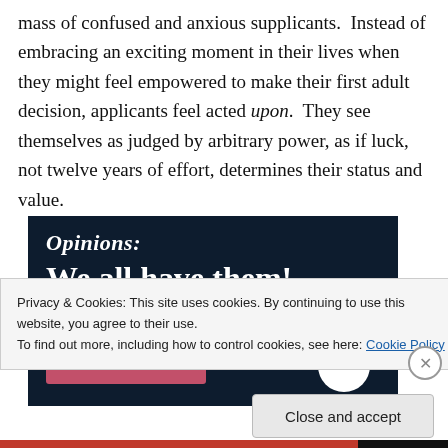mass of confused and anxious supplicants.  Instead of embracing an exciting moment in their lives when they might feel empowered to make their first adult decision, applicants feel acted upon.  They see themselves as judged by arbitrary power, as if luck, not twelve years of effort, determines their status and value.
[Figure (screenshot): Dark navy background image with white bold text reading 'Opinions: We all have them!' and a pink/rose button bar at the bottom left, white circle at bottom right.]
Privacy & Cookies: This site uses cookies. By continuing to use this website, you agree to their use.
To find out more, including how to control cookies, see here: Cookie Policy